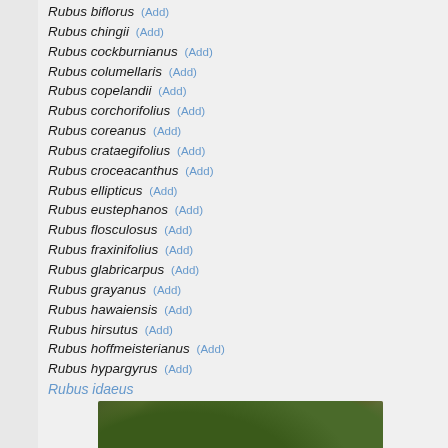Rubus biflorus (Add)
Rubus chingii (Add)
Rubus cockburnianus (Add)
Rubus columellaris (Add)
Rubus copelandii (Add)
Rubus corchorifolius (Add)
Rubus coreanus (Add)
Rubus crataegifolius (Add)
Rubus croceacanthus (Add)
Rubus ellipticus (Add)
Rubus eustephanos (Add)
Rubus flosculosus (Add)
Rubus fraxinifolius (Add)
Rubus glabricarpus (Add)
Rubus grayanus (Add)
Rubus hawaiensis (Add)
Rubus hirsutus (Add)
Rubus hoffmeisterianus (Add)
Rubus hypargyrus (Add)
Rubus idaeus
[Figure (photo): Photograph of Rubus idaeus plant with red berries and green leaves]
Rubus illecebrosus (Add)
Rubus innominatus (Add)
Rubus inopertus (Add)
Rubus irritans (Add)